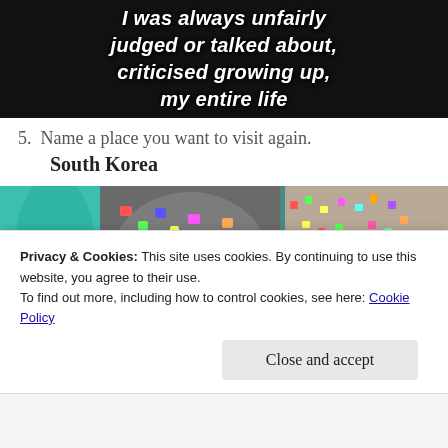[Figure (photo): Dark background image with white bold italic text overlaid reading: 'I was always unfairly judged or talked about, criticised growing up, my entire life']
5. Name a place you want to visit again.
South Korea
[Figure (photo): Colorful photo of South Korea love locks with text 'SOUTH KOREA' overlaid at bottom]
Privacy & Cookies: This site uses cookies. By continuing to use this website, you agree to their use.
To find out more, including how to control cookies, see here: Cookie Policy
Close and accept